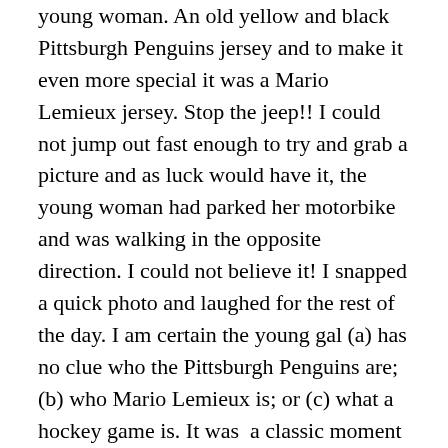young woman. An old yellow and black Pittsburgh Penguins jersey and to make it even more special it was a Mario Lemieux jersey. Stop the jeep!! I could not jump out fast enough to try and grab a picture and as luck would have it, the young woman had parked her motorbike and was walking in the opposite direction. I could not believe it! I snapped a quick photo and laughed for the rest of the day. I am certain the young gal (a) has no clue who the Pittsburgh Penguins are; (b) who Mario Lemieux is; or (c) what a hockey game is. It was  a classic moment and no greater evidence that all of our second hand and unsold clothing ends up in Africa. The only thing better would have been if it was a Vancouver Canucks jersey. It